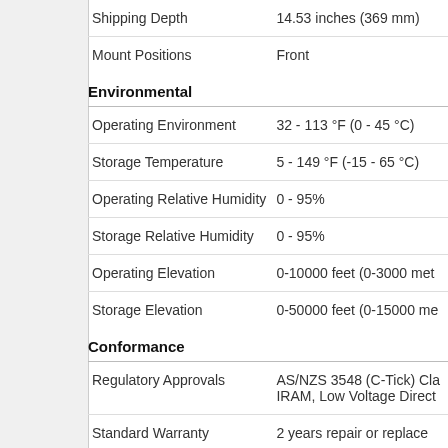| Property | Value |
| --- | --- |
| Shipping Depth | 14.53 inches (369 mm) |
| Mount Positions | Front |
| Environmental |  |
| Operating Environment | 32 - 113 °F (0 - 45 °C) |
| Storage Temperature | 5 - 149 °F (-15 - 65 °C) |
| Operating Relative Humidity | 0 - 95% |
| Storage Relative Humidity | 0 - 95% |
| Operating Elevation | 0-10000 feet (0-3000 me... |
| Storage Elevation | 0-50000 feet (0-15000 me... |
| Conformance |  |
| Regulatory Approvals | AS/NZS 3548 (C-Tick) Cl... IRAM, Low Voltage Direct... |
| Standard Warranty | 2 years repair or replace |
| Sustainable Offer Status |  |
| RoHS | Compliant |